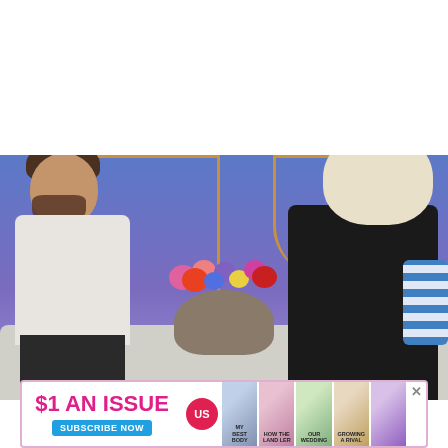[Figure (photo): Two people sitting on a grey sofa on a TV show set with blue and purple background and gold frame decor. A man with brown beard wearing white shirt sits on the left. A blonde woman in black outfit sits on the right. Colorful flower arrangement is between them. A blue striped pillow is on far right.]
[Figure (photo): Advertisement banner for US Magazine: '$1 AN ISSUE' in pink text with 'SUBSCRIBE NOW' blue button, US magazine circular red logo, and several magazine cover thumbnails with partial text visible including 'MY BEST BODY', 'HOW THE LAND LER', 'OUR WEDDING', 'GROWING A RIVAL'. A grey X close button on far right.]